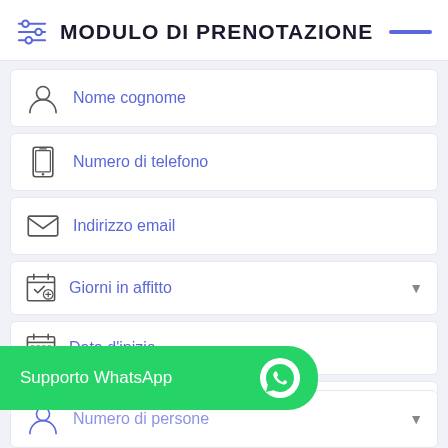MODULO DI PRENOTAZIONE
Nome cognome
Numero di telefono
Indirizzo email
Giorni in affitto
Data d'inizio
Data di fine
Supporto WhatsApp
Numero di persone